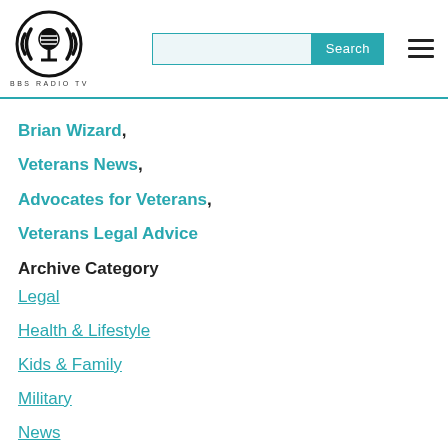BBS RADIO TV [logo] [search bar] [hamburger menu]
Brian Wizard,
Veterans News,
Advocates for Veterans,
Veterans Legal Advice
Archive Category
Legal
Health & Lifestyle
Kids & Family
Military
News
Politics & Government